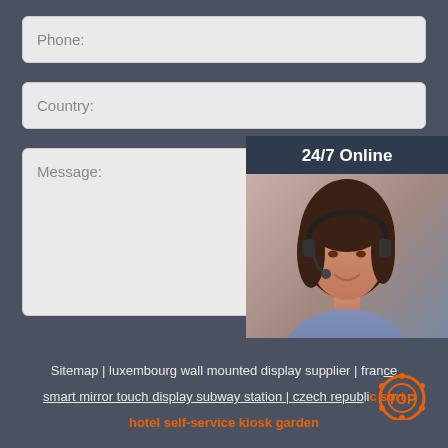Phone:
Country:
Message:
24/7 Online
Click here for free chat !
QUOTATION
Submit Now
Sitemap | luxembourg wall mounted display supplier | france smart mirror touch display subway station | czech republic sort hotel self-service kiosk garden